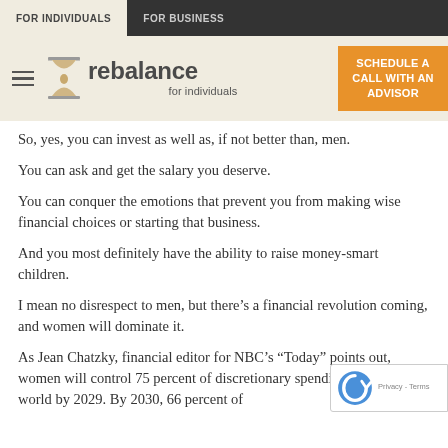FOR INDIVIDUALS | FOR BUSINESS
[Figure (logo): Rebalance logo with hourglass icon and text 'rebalance for individuals', hamburger menu icon on left, orange CTA button 'SCHEDULE A CALL WITH AN ADVISOR' on right]
So, yes, you can invest as well as, if not better than, men.
You can ask and get the salary you deserve.
You can conquer the emotions that prevent you from making wise financial choices or starting that business.
And you most definitely have the ability to raise money-smart children.
I mean no disrespect to men, but there’s a financial revolution coming, and women will dominate it.
As Jean Chatzky, financial editor for NBC’s “Today” points out, women will control 75 percent of discretionary spending around the world by 2029. By 2030, 66 percent of